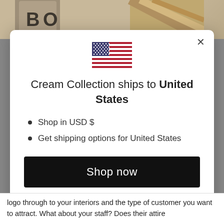[Figure (screenshot): Background photo strip showing a tan/khaki bag with 'BO' letters visible at top of page]
[Figure (illustration): US flag emoji icon centered above the modal title]
Cream Collection ships to United States
Shop in USD $
Get shipping options for United States
Shop now
Change shipping country
logo through to your interiors and the type of customer you want to attract. What about your staff? Does their attire